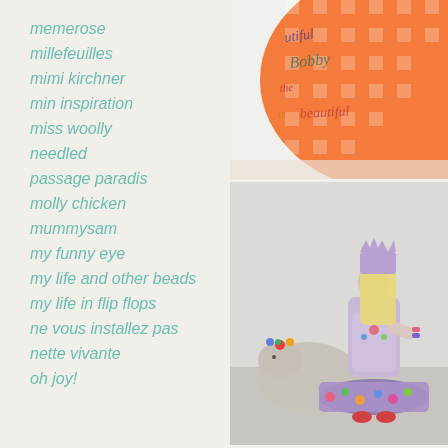memerose
millefeuilles
mimi kirchner
min inspiration
miss woolly
needled
passage paradis
molly chicken
mummysam
my funny eye
my life and other beads
my life in flip flops
ne vous installez pas
nette vivante
oh joy!
[Figure (photo): Close-up of orange gingham fabric with colorful embroidered text in cursive, partially visible words including 'Millie' and 'beautiful']
[Figure (photo): A decorative figurine of a girl with long blonde hair wearing a purple crown and lavender dress, holding something, standing next to a small lamb decorated with flowers, on a floral base]
[Figure (photo): Partial view of a pale/white cylindrical or rounded object, cropped at bottom of page]